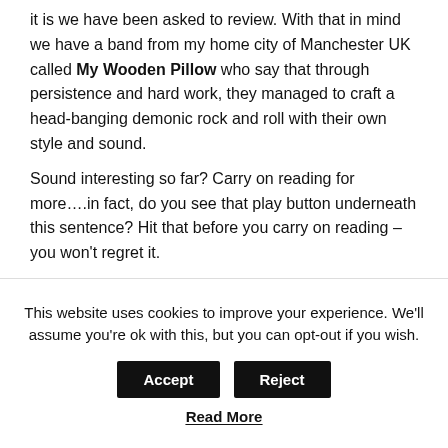it is we have been asked to review. With that in mind we have a band from my home city of Manchester UK called My Wooden Pillow who say that through persistence and hard work, they managed to craft a head-banging demonic rock and roll with their own style and sound.
Sound interesting so far? Carry on reading for more....in fact, do you see that play button underneath this sentence? Hit that before you carry on reading – you won't regret it.
Sorry, this track or album is not available.
This website uses cookies to improve your experience. We'll assume you're ok with this, but you can opt-out if you wish.
Read More